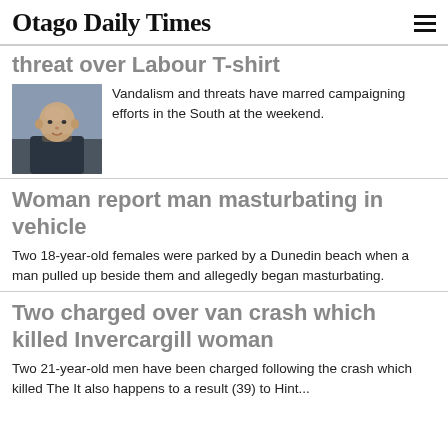Otago Daily Times
threat over Labour T-shirt
[Figure (photo): Headshot of a bald man in a dark navy shirt, photographed outdoors]
Vandalism and threats have marred campaigning efforts in the South at the weekend.
Woman report man masturbating in vehicle
Two 18-year-old females were parked by a Dunedin beach when a man pulled up beside them and allegedly began masturbating.
Two charged over van crash which killed Invercargill woman
Two 21-year-old men have been charged following the crash which killed The It also happens as a result (39) to Hint...